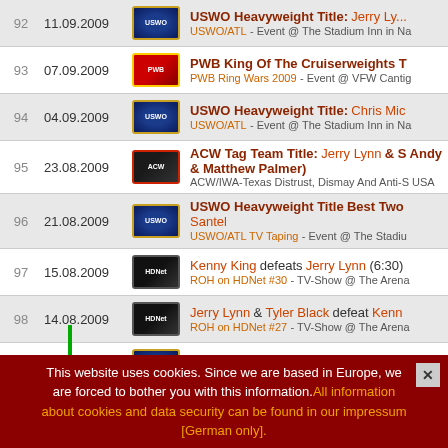| # | Date | Logo | Event/Info |
| --- | --- | --- | --- |
| 92 | 11.09.2009 | USWO | USWO Heavyweight Title: Jerry Ly...
USWO/ATL - Event @ The Stadium Inn in Na |
| 93 | 07.09.2009 | PWB | PWB King Of The Cruiserweights T
PWB Ring Wars 2009 - Event @ VFW Cantig |
| 94 | 04.09.2009 | USWO | USWO Heavyweight Title: Chris Mic
USWO/ATL - Event @ The Stadium Inn in Na |
| 95 | 23.08.2009 | ACW | ACW Tag Team Title: Jerry Lynn & S Andy & Matthew Palmer)
ACW/IWA-Texas Distrust, Dismay And Anti-S USA |
| 96 | 21.08.2009 | USWO | USWO Heavyweight Title Best Two Santel
USWO/ATL TV Taping - Event @ The Stadiu |
| 97 | 15.08.2009 | HDNet | Kenny King defeats Jerry Lynn (6:30)
ROH on HDNet #30 - TV-Show @ The Arena |
| 98 | 14.08.2009 | HDNet | Jerry Lynn & Tyler Black defeat Kenn
ROH on HDNet #27 - TV-Show @ The Arena |
| 99 | 07.08.2009 | USWO | USWO Heavyweight Title: Jerry Lyn
USWO/ATL TV Taping - Event @ The Stadiu |
This website uses cookies. Since we are based in Europe, we are forced to bother you with this information. All information about cookies and data security can be found in our impressum [German only].